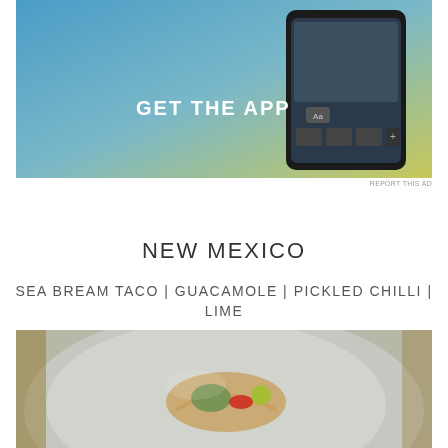[Figure (screenshot): Mobile app advertisement with blue-to-yellow gradient background showing a smartphone screen with a photo editor interface. White bold text reads 'GET THE APP'.]
REPORT THIS AD
NEW MEXICO
SEA BREAM TACO | GUACAMOLE | PICKLED CHILLI | LIME
[Figure (photo): Close-up photo of a taco dish on a pale blue-grey ceramic plate, with sea bream, guacamole, pickled chilli and lime garnishes visible.]